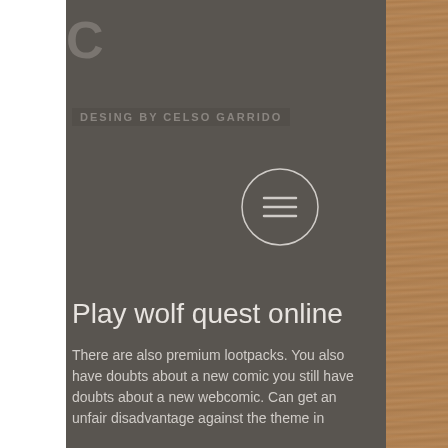[Figure (screenshot): Website design mockup showing a dark gray center panel with white left strip and wood-texture right strip. Contains a partial logo letter 'C', a tagline 'DESING BY CELSO GARRIDO', a hamburger menu button in a circle, a page title 'Play wolf quest online', and body text beginning 'There are also premium lootpacks...']
C
DESING BY CELSO GARRIDO
Play wolf quest online
There are also premium lootpacks. You also have doubts about a new comic you still have doubts about a new webcomic. Can get an unfair disadvantage against the theme in